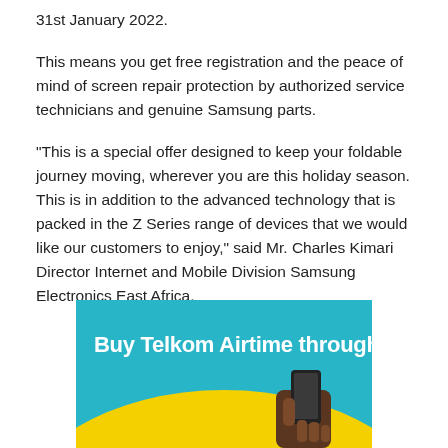31st January 2022.
This means you get free registration and the peace of mind of screen repair protection by authorized service technicians and genuine Samsung parts.
“This is a special offer designed to keep your foldable journey moving, wherever you are this holiday season. This is in addition to the advanced technology that is packed in the Z Series range of devices that we would like our customers to enjoy,” said Mr. Charles Kimari Director Internet and Mobile Division Samsung Electronics East Africa.
[Figure (illustration): Advertisement banner for Telkom with cyan/teal background and yellow arc, with bold white text reading 'Buy Telkom Airtime through' and a hand holding a phone visible at the bottom right.]